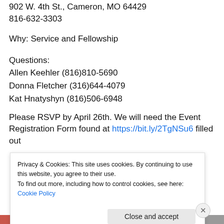902 W. 4th St., Cameron, MO 64429
816-632-3303
Why: Service and Fellowship
Questions:
Allen Keehler (816)810-5690
Donna Fletcher (316)644-4079
Kat Hnatyshyn (816)506-6948
Please RSVP by April 26th. We will need the Event
Registration Form found at https://bit.ly/2TgNSu6 filled out
Privacy & Cookies: This site uses cookies. By continuing to use this website, you agree to their use. To find out more, including how to control cookies, see here: Cookie Policy